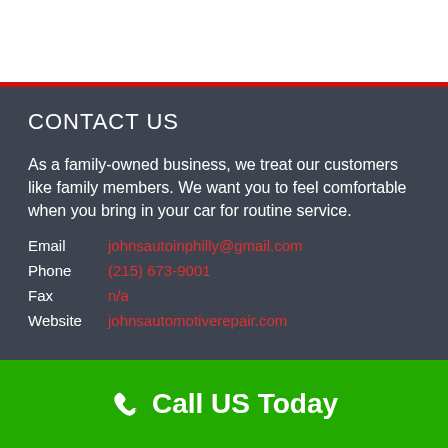CONTACT US
As a family-owned business, we treat our customers like family members. We want you to feel comfortable when you bring in your car for routine service.
Email   johnsautoinphilly@gmail.com
Phone   (215) 673-9001
Fax   n/a
Website   johnsautomotiverepair.com
Call US Today